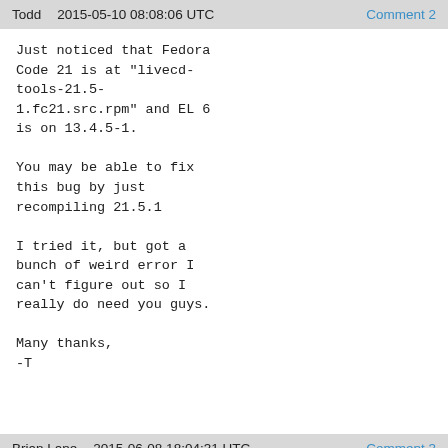Todd   2015-05-10 08:08:06 UTC   Comment 2
Just noticed that Fedora
Code 21 is at "livecd-
tools-21.5-
1.fc21.src.rpm" and EL 6
is on 13.4.5-1.

You may be able to fix
this bug by just
recompiling 21.5.1

I tried it, but got a
bunch of weird error I
can't figure out so I
really do need you guys.

Many thanks,
-T
Brian Lane   2015-06-08 18:04:31 UTC   Comment 3
livecd-tools for rhel
are from epel.

*** This bug has been